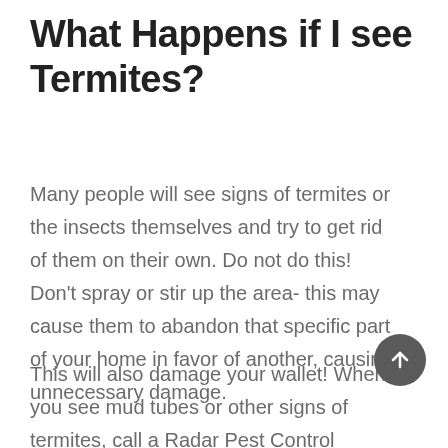What Happens if I see Termites?
Many people will see signs of termites or the insects themselves and try to get rid of them on their own. Do not do this! Don't spray or stir up the area- this may cause them to abandon that specific part of your home in favor of another, causing unnecessary damage.
This will also damage your wallet! When you see mud tubes or other signs of termites, call a Radar Pest Control professional to take a look at it and give